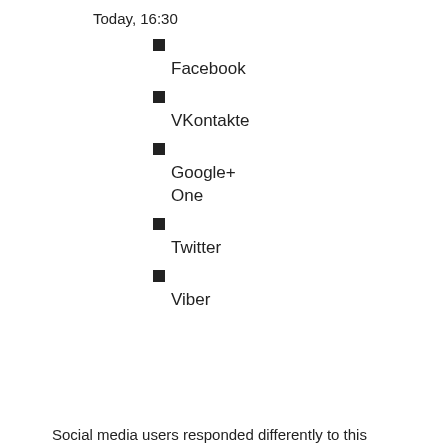Today, 16:30
Facebook
VKontakte
Google+
One
Twitter
Viber
Social media users responded differently to this